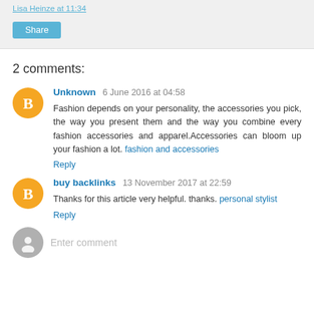Lisa Heinze at 11:34
Share
2 comments:
Unknown 6 June 2016 at 04:58
Fashion depends on your personality, the accessories you pick, the way you present them and the way you combine every fashion accessories and apparel.Accessories can bloom up your fashion a lot. fashion and accessories
Reply
buy backlinks 13 November 2017 at 22:59
Thanks for this article very helpful. thanks. personal stylist
Reply
Enter comment